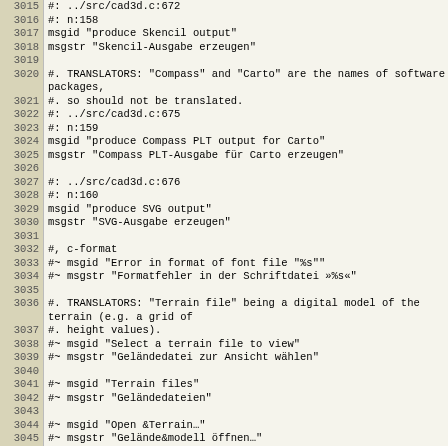Code viewer showing lines 3015-3045 of a PO/gettext localization file for a CAD application (cad3d), with German translations.
| Line | Content |
| --- | --- |
| 3015 | #: ../src/cad3d.c:672 |
| 3016 | #: n:158 |
| 3017 | msgid "produce Skencil output" |
| 3018 | msgstr "Skencil-Ausgabe erzeugen" |
| 3019 |  |
| 3020 | #. TRANSLATORS: "Compass" and "Carto" are the names of software packages, |
| 3021 | #. so should not be translated. |
| 3022 | #: ../src/cad3d.c:675 |
| 3023 | #: n:159 |
| 3024 | msgid "produce Compass PLT output for Carto" |
| 3025 | msgstr "Compass PLT-Ausgabe für Carto erzeugen" |
| 3026 |  |
| 3027 | #: ../src/cad3d.c:676 |
| 3028 | #: n:160 |
| 3029 | msgid "produce SVG output" |
| 3030 | msgstr "SVG-Ausgabe erzeugen" |
| 3031 |  |
| 3032 | #, c-format |
| 3033 | #~ msgid "Error in format of font file "%s"" |
| 3034 | #~ msgstr "Formatfehler in der Schriftdatei »%s«" |
| 3035 |  |
| 3036 | #. TRANSLATORS: "Terrain file" being a digital model of the terrain (e.g. a grid of |
| 3037 | #. height values). |
| 3038 | #~ msgid "Select a terrain file to view" |
| 3039 | #~ msgstr "Geländedatei zur Ansicht wählen" |
| 3040 |  |
| 3041 | #~ msgid "Terrain files" |
| 3042 | #~ msgstr "Geländedateien" |
| 3043 |  |
| 3044 | #~ msgid "Open &Terrain…" |
| 3045 | #~ msgstr "Gelände&modell öffnen…" |